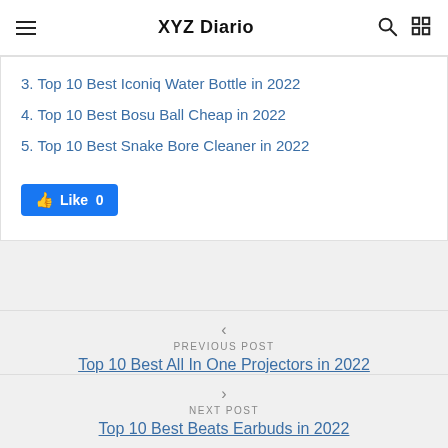XYZ Diario
3. Top 10 Best Iconiq Water Bottle in 2022
4. Top 10 Best Bosu Ball Cheap in 2022
5. Top 10 Best Snake Bore Cleaner in 2022
Like 0
< PREVIOUS POST
Top 10 Best All In One Projectors in 2022
> NEXT POST
Top 10 Best Beats Earbuds in 2022